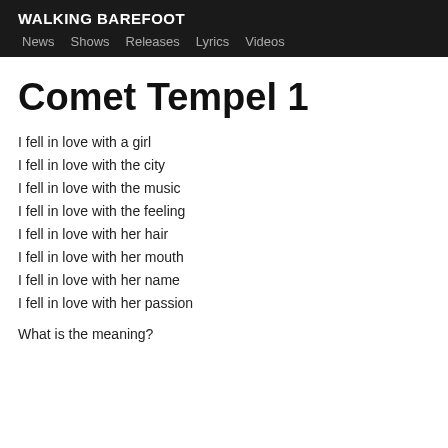WALKING BAREFOOT
News  Shows  Releases  Lyrics  Videos
Comet Tempel 1
I fell in love with a girl
I fell in love with the city
I fell in love with the music
I fell in love with the feeling
I fell in love with her hair
I fell in love with her mouth
I fell in love with her name
I fell in love with her passion
What is the meaning?